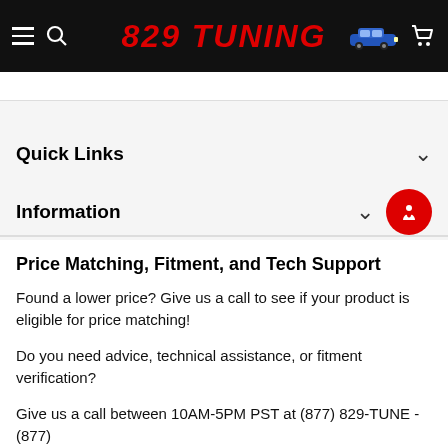829 TUNING
Quick Links
Information
Price Matching, Fitment, and Tech Support
Found a lower price? Give us a call to see if your product is eligible for price matching!
Do you need advice, technical assistance, or fitment verification?
Give us a call between 10AM-5PM PST at (877) 829-TUNE - (877)